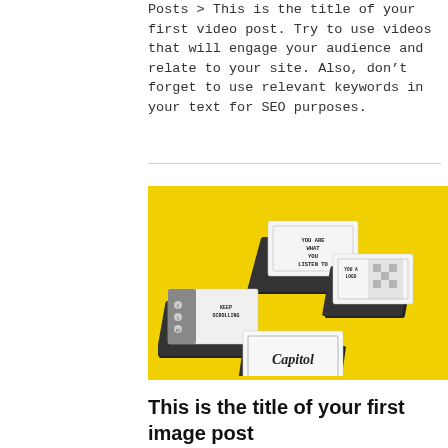Posts > This is the title of your first video post. Try to use videos that will engage your audience and relate to your site. Also, don't forget to use relevant keywords in your text for SEO purposes.
[Figure (illustration): Yellow background with four stacks of business cards arranged in an isometric layout. Cards shown include 'You Are What You Listen To', 'Keep Scrolling' with social media icons, a patterned card, and 'Capitol' branding card.]
This is the title of your first image post